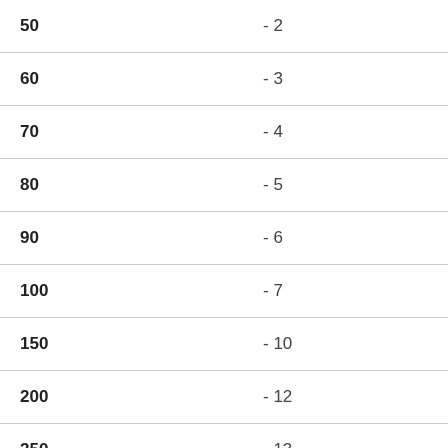| 50 | - 2 |
| 60 | - 3 |
| 70 | - 4 |
| 80 | - 5 |
| 90 | - 6 |
| 100 | - 7 |
| 150 | - 10 |
| 200 | - 12 |
| 250 | - 13 |
| 300 | - 14 |
| 350 | - 15 |